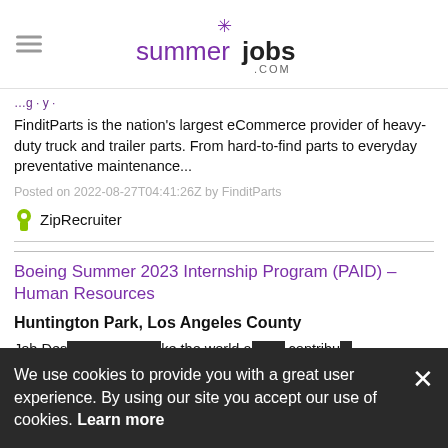summerjobs.com
FinditParts is the nation's largest eCommerce provider of heavy-duty truck and trailer parts. From hard-to-find parts to everyday preventative maintenance...
Posted on 2022-08-27T04:41:26Z by FinditParts
[Figure (logo): ZipRecruiter logo with green person icon]
Boeing Summer 2023 Internship Program (PAID) – Human Resources
Huntington Park, Los Angeles County
Job Des... ke the world a... contrib...
Posted d...
We use cookies to provide you with a great user experience. By using our site you accept our use of cookies. Learn more